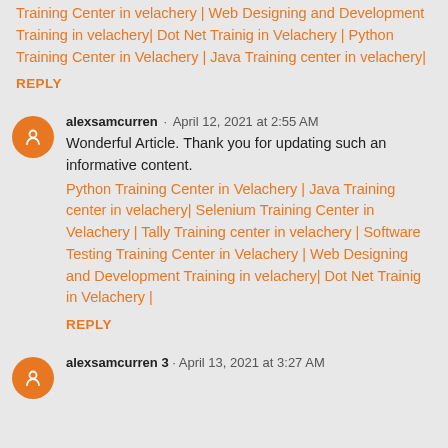Training Center in velachery | Web Designing and Development Training in velachery| Dot Net Trainig in Velachery | Python Training Center in Velachery | Java Training center in velachery|
REPLY
alexsamcurren · April 12, 2021 at 2:55 AM
Wonderful Article. Thank you for updating such an informative content.
Python Training Center in Velachery | Java Training center in velachery| Selenium Training Center in Velachery | Tally Training center in velachery | Software Testing Training Center in Velachery | Web Designing and Development Training in velachery| Dot Net Trainig in Velachery |
REPLY
alexsamcurren 3 · April 13, 2021 at 3:27 AM